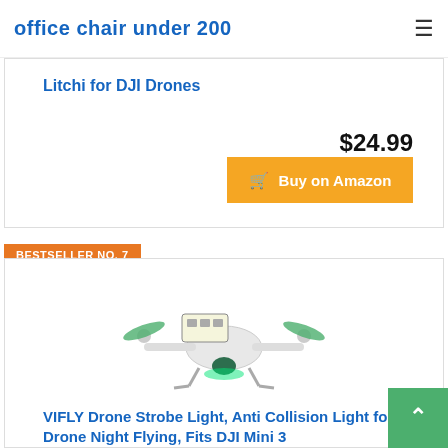office chair under 200
Litchi for DJI Drones
$24.99
Buy on Amazon
BESTSELLER NO. 7
[Figure (photo): VIFLY drone with strobe/anti-collision light attached, shown against white background with green LED lighting underneath]
VIFLY Drone Strobe Light, Anti Collision Light for FAA Drone Night Flying, Fits DJI Mini 3